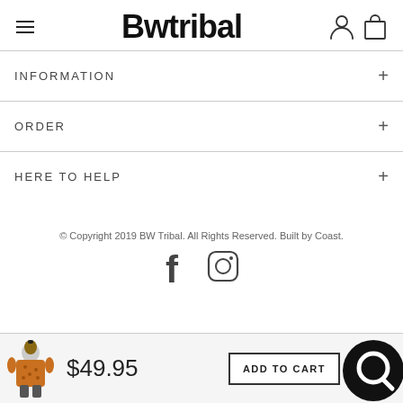Bwtribal
INFORMATION
ORDER
HERE TO HELP
© Copyright 2019 BW Tribal. All Rights Reserved. Built by Coast.
[Figure (other): Facebook and Instagram social media icons]
[Figure (photo): Product thumbnail of a man wearing an orange tribal print short sleeve shirt]
$49.95
ADD TO CART